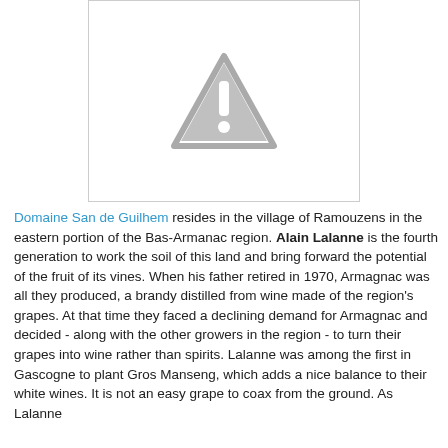[Figure (other): Placeholder image with warning triangle icon (grey triangle with exclamation mark) on white background with grey border]
Domaine San de Guilhem resides in the village of Ramouzens in the eastern portion of the Bas-Armanac region. Alain Lalanne is the fourth generation to work the soil of this land and bring forward the potential of the fruit of its vines. When his father retired in 1970, Armagnac was all they produced, a brandy distilled from wine made of the region's grapes. At that time they faced a declining demand for Armagnac and decided - along with the other growers in the region - to turn their grapes into wine rather than spirits. Lalanne was among the first in Gascogne to plant Gros Manseng, which adds a nice balance to their white wines. It is not an easy grape to coax from the ground. As Lalanne